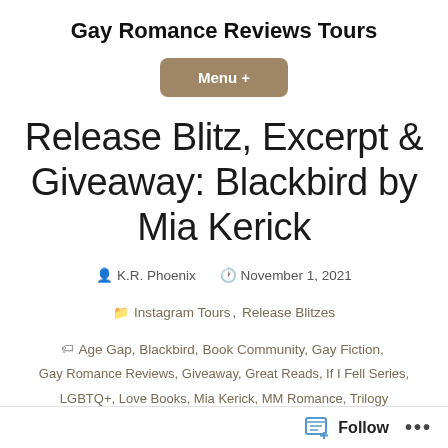Gay Romance Reviews Tours
Menu +
Release Blitz, Excerpt & Giveaway: Blackbird by Mia Kerick
K.R. Phoenix   November 1, 2021
Instagram Tours, Release Blitzes
Age Gap, Blackbird, Book Community, Gay Fiction, Gay Romance Reviews, Giveaway, Great Reads, If I Fell Series, LGBTQ+, Love Books, Mia Kerick, MM Romance, Trilogy
Follow ...